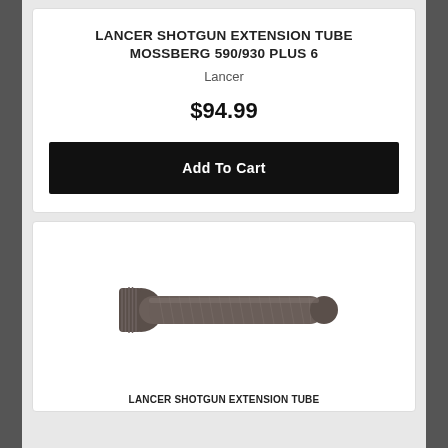LANCER SHOTGUN EXTENSION TUBE MOSSBERG 590/930 PLUS 6
Lancer
$94.99
Add To Cart
[Figure (photo): A dark grey/brown shotgun extension tube with knurled end cap on the left and threaded cylindrical body, photographed on white background.]
LANCER SHOTGUN EXTENSION TUBE